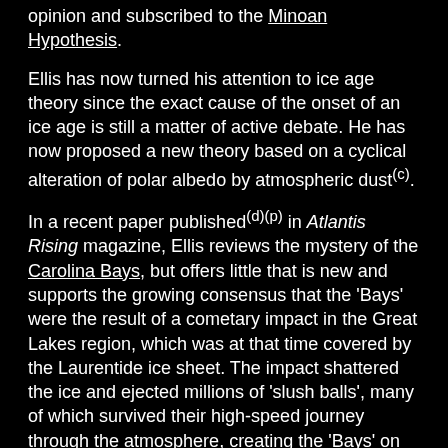opinion and subscribed to the Minoan Hypothesis.
Ellis has now turned his attention to ice age theory since the exact cause of the onset of an ice age is still a matter of active debate. He has now proposed a new theory based on a cyclical alteration of polar albedo by atmospheric dust(c).
In a recent paper published(d)(p) in Atlantis Rising magazine, Ellis reviews the mystery of the Carolina Bays, but offers little that is new and supports the growing consensus that the 'Bays' were the result of a cometary impact in the Great Lakes region, which was at that time covered by the Laurentide ice sheet. The impact shattered the ice and ejected millions of 'slush balls', many of which survived their high-speed journey through the atmosphere, creating the 'Bays' on landing.
>The World Mysteries website has a range of Ellis' articles available(k).
For some sort of balance, you can read an extensive critical paper by Daniel O. McClennan, with some of Ellis'